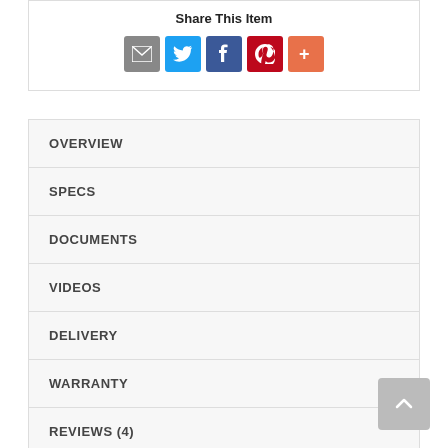Share This Item
[Figure (infographic): Social share icons: email (grey), Twitter (blue), Facebook (dark blue), Pinterest (red), More (orange)]
OVERVIEW
SPECS
DOCUMENTS
VIDEOS
DELIVERY
WARRANTY
REVIEWS (4)